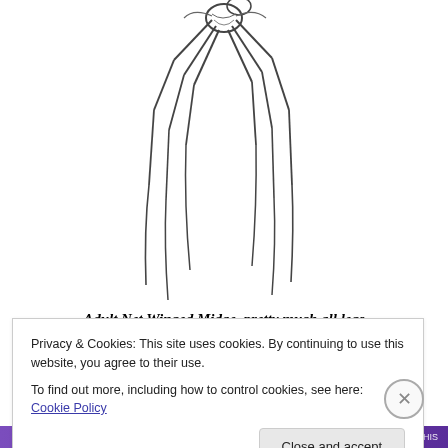[Figure (illustration): Line drawing illustration of an Adult Net Winged Midge insect, shown with very long spindly legs extending downward, cropped at top of page.]
Adult Net Winged Midge, pretty much all legs
I suppose that on freestone streams much of what is
Privacy & Cookies: This site uses cookies. By continuing to use this website, you agree to their use.
To find out more, including how to control cookies, see here: Cookie Policy